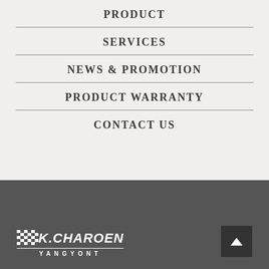PRODUCT
SERVICES
NEWS & PROMOTION
PRODUCT WARRANTY
CONTACT US
[Figure (logo): K.Charoen Yangyont logo with checkered flag pattern on dark footer background]
[Figure (other): Back to top button with upward arrow]